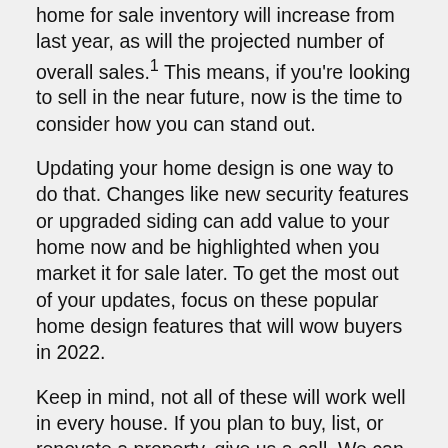home for sale inventory will increase from last year, as will the projected number of overall sales.¹ This means, if you're looking to sell in the near future, now is the time to consider how you can stand out.
Updating your home design is one way to do that. Changes like new security features or upgraded siding can add value to your home now and be highlighted when you market it for sale later. To get the most out of your updates, focus on these popular home design features that will wow buyers in 2022.
Keep in mind, not all of these will work well in every house. If you plan to buy, list, or renovate a property, give us a call. We can help you realize your vision and maximize the impact of your investment.
Eco-Friendly Fixtures
Millennials account for the largest share of current homebuyers, according to the National Association of